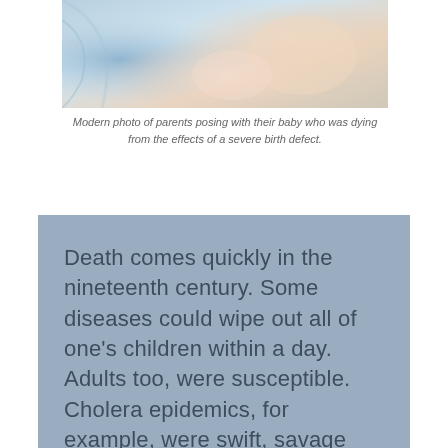[Figure (photo): Modern photo of parents posing with their baby who was dying from the effects of a severe birth defect.]
Modern photo of parents posing with their baby who was dying from the effects of a severe birth defect.
Death comes quickly in the nineteenth century. Some diseases could wipe out all of one's children within a day. Adults too, were susceptible. Cholera epidemics, for example, were swift, savage killers.